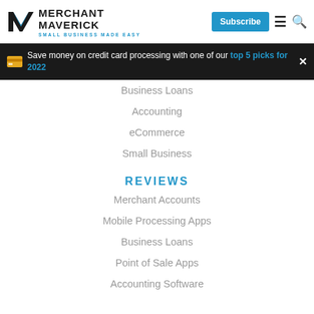MERCHANT MAVERICK — SMALL BUSINESS MADE EASY | Subscribe
Save money on credit card processing with one of our top 5 picks for 2022
Business Loans
Accounting
eCommerce
Small Business
REVIEWS
Merchant Accounts
Mobile Processing Apps
Business Loans
Point of Sale Apps
Accounting Software